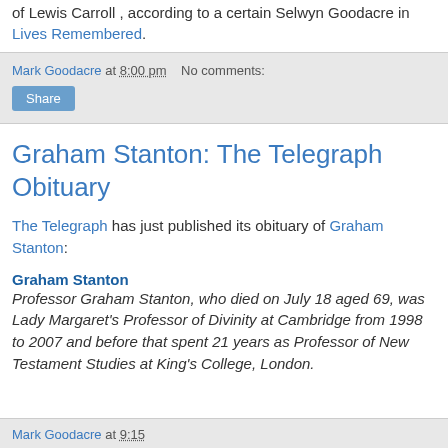of Lewis Carroll , according to a certain Selwyn Goodacre in Lives Remembered.
Mark Goodacre at 8:00 pm   No comments:
Share
Graham Stanton: The Telegraph Obituary
The Telegraph has just published its obituary of Graham Stanton:
Graham Stanton
Professor Graham Stanton, who died on July 18 aged 69, was Lady Margaret's Professor of Divinity at Cambridge from 1998 to 2007 and before that spent 21 years as Professor of New Testament Studies at King's College, London.
Mark Goodacre at 9:15